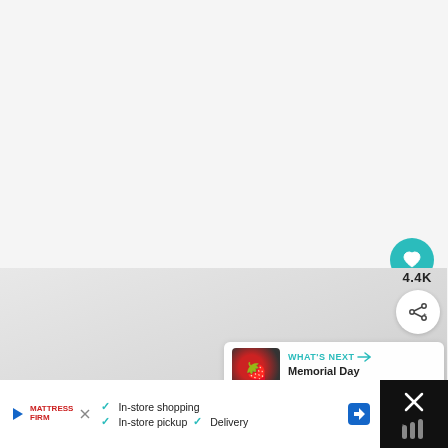[Figure (screenshot): Upper light gray/white background area of a web or app interface]
[Figure (screenshot): Teal circular heart/favorite button with white heart icon]
4.4K
[Figure (screenshot): White circular share button with share icon]
[Figure (screenshot): Content image area with light gray gradient background]
[Figure (screenshot): What's Next card showing Memorial Day Charcuterie... with food thumbnail]
[Figure (screenshot): Advertisement bar for Mattress Firm with In-store shopping, In-store pickup, Delivery features and navigation icon]